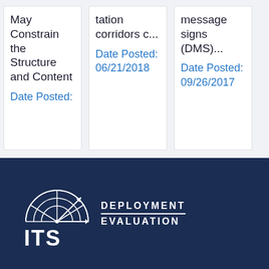May Constrain the Structure and Content
Date Posted:
tation corridors c...
Date Posted: 06/21/2018
message signs (DMS)...
Date Posted: 09/26/2017
[Figure (logo): ITS Deployment Evaluation logo: radar/target circle graphic with arrows, white text on dark navy background reading ITS DEPLOYMENT EVALUATION]